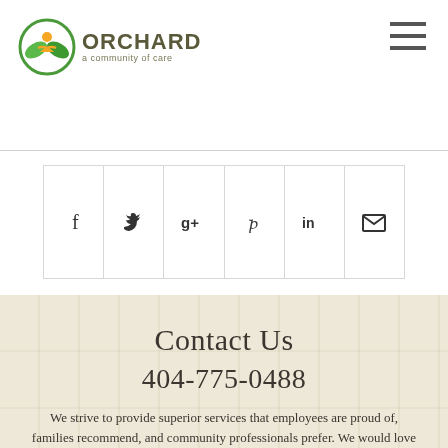[Figure (logo): Orchard – a community of care logo with circular green/orange leaf emblem]
[Figure (other): Hamburger menu icon (three horizontal lines) in top right corner]
[Figure (other): Social media sharing bar with six icons: Facebook (f), Twitter bird, Google+ (g+), Pinterest (p), LinkedIn (in), Email (envelope)]
Contact Us
404-775-0488
We strive to provide superior services that employees are proud of, families recommend, and community professionals prefer. We would love to hear from! If